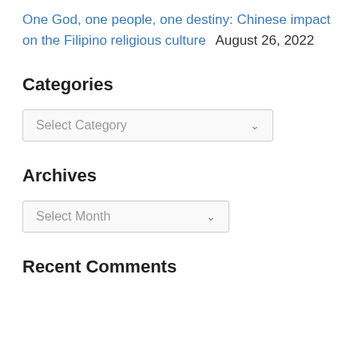One God, one people, one destiny: Chinese impact on the Filipino religious culture  August 26, 2022
Categories
Select Category
Archives
Select Month
Recent Comments